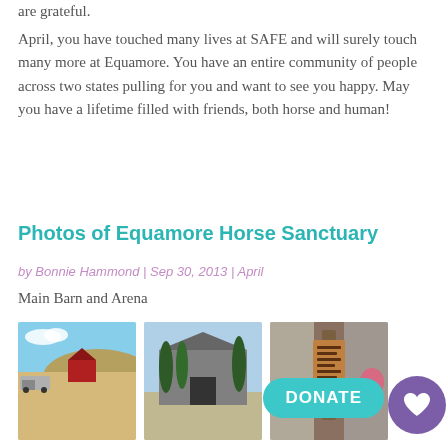are grateful.
April, you have touched many lives at SAFE and will surely touch many more at Equamore. You have an entire community of people across two states pulling for you and want to see you happy. May you have a lifetime filled with friends, both horse and human!
Photos of Equamore Horse Sanctuary
by Bonnie Hammond | Sep 30, 2013 | April
Main Barn and Arena
[Figure (photo): Three photos of Equamore Horse Sanctuary: a ranch landscape with trucks and a red barn, a horse arena building with tall cypress trees, and a close-up of a barn entrance sign.]